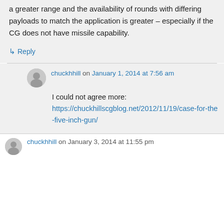a greater range and the availability of rounds with differing payloads to match the application is greater – especially if the CG does not have missile capability.
↳ Reply
chuckhhill on January 1, 2014 at 7:56 am
I could not agree more: https://chuckhillscgblog.net/2012/11/19/case-for-the-five-inch-gun/
chuckhhill on January 3, 2014 at 11:55 pm